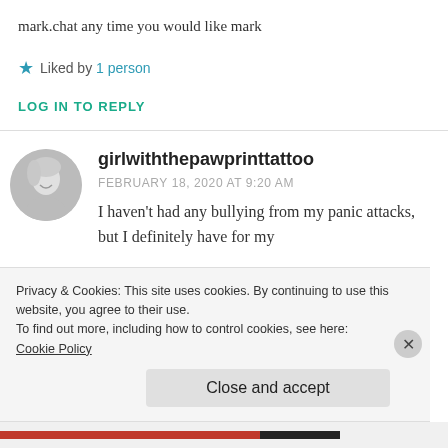mark.chat any time you would like mark
★ Liked by 1 person
LOG IN TO REPLY
[Figure (photo): Black and white circular avatar photo of a blonde woman smiling]
girlwiththepawprinttattoo
FEBRUARY 18, 2020 AT 9:20 AM
I haven't had any bullying from my panic attacks, but I definitely have for my
Privacy & Cookies: This site uses cookies. By continuing to use this website, you agree to their use. To find out more, including how to control cookies, see here: Cookie Policy
Close and accept